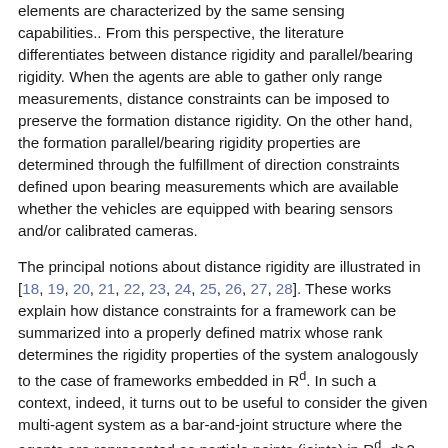elements are characterized by the same sensing capabilities.. From this perspective, the literature differentiates between distance rigidity and parallel/bearing rigidity. When the agents are able to gather only range measurements, distance constraints can be imposed to preserve the formation distance rigidity. On the other hand, the formation parallel/bearing rigidity properties are determined through the fulfillment of direction constraints defined upon bearing measurements which are available whether the vehicles are equipped with bearing sensors and/or calibrated cameras.
The principal notions about distance rigidity are illustrated in [18, 19, 20, 21, 22, 23, 24, 25, 26, 27, 28]. These works explain how distance constraints for a framework can be summarized into a properly defined matrix whose rank determines the rigidity properties of the system analogously to the case of frameworks embedded in R^d. In such a context, indeed, it turns out to be useful to consider the given multi-agent system as a bar-and-joint structure where the agents are represented as particle points (joints) in R^d, d≥2, and the interacting agent pairs can be thought as being joined by bars whose lengths enforce the inter-agent distance constraints.